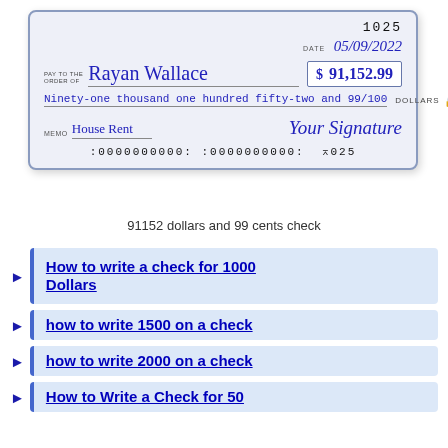[Figure (illustration): A sample check made out to Rayan Wallace for $91,152.99 dated 05/09/2022, check number 1025, memo: House Rent, with signature 'Your Signature' and MICR line at bottom.]
91152 dollars and 99 cents check
How to write a check for 1000 Dollars
how to write 1500 on a check
how to write 2000 on a check
How to Write a Check for 50